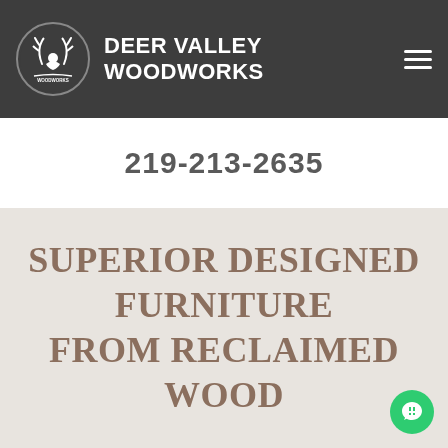DEER VALLEY WOODWORKS
219-213-2635
SUPERIOR DESIGNED FURNITURE FROM RECLAIMED WOOD